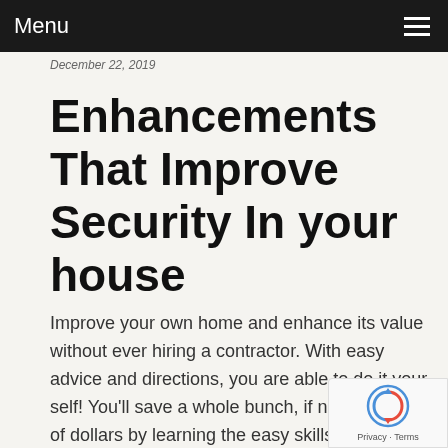Menu
December 22, 2019
Enhancements That Improve Security In your house
Improve your own home and enhance its value without ever hiring a contractor. With easy advice and directions, you are able to do it your self! You'll save a whole bunch, if not hundreds, of dollars by learning the easy skills to do residence enhancements on your own time. Furthermore, you'll benefit from the satisfaction of doing it your self.